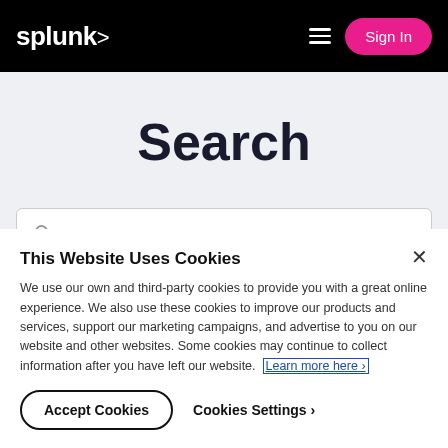splunk> Sign In
Search
Report the last error and total crashes
This Website Uses Cookies
We use our own and third-party cookies to provide you with a great online experience. We also use these cookies to improve our products and services, support our marketing campaigns, and advertise to you on our website and other websites. Some cookies may continue to collect information after you have left our website. Learn more here ›
Accept Cookies
Cookies Settings ›